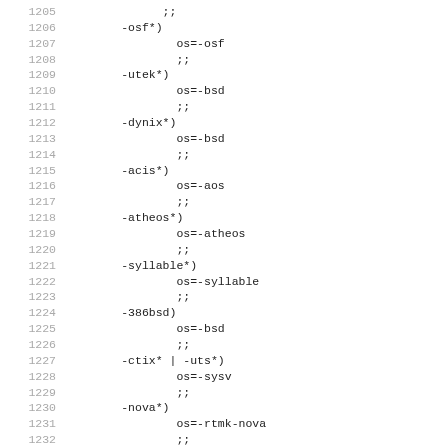Code listing lines 1205-1236 showing shell script case statement entries for OS detection
1205        ;;
1206        -osf*)
1207                os=-osf
1208                ;;
1209        -utek*)
1210                os=-bsd
1211                ;;
1212        -dynix*)
1213                os=-bsd
1214                ;;
1215        -acis*)
1216                os=-aos
1217                ;;
1218        -atheos*)
1219                os=-atheos
1220                ;;
1221        -syllable*)
1222                os=-syllable
1223                ;;
1224        -386bsd)
1225                os=-bsd
1226                ;;
1227        -ctix* | -uts*)
1228                os=-sysv
1229                ;;
1230        -nova*)
1231                os=-rtmk-nova
1232                ;;
1233        -ns2 )
1234                os=-nextstep2
1235                ;;
1236        -nsk*)